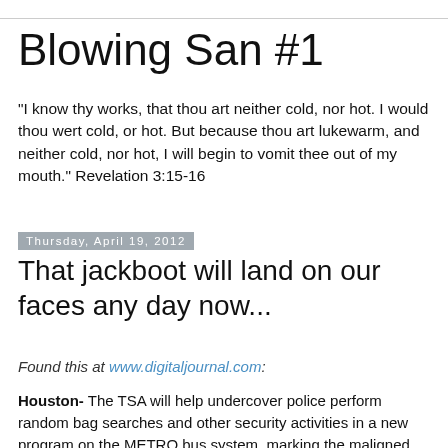Blowing San #1
"I know thy works, that thou art neither cold, nor hot. I would thou wert cold, or hot. But because thou art lukewarm, and neither cold, nor hot, I will begin to vomit thee out of my mouth." Revelation 3:15-16
Thursday, April 19, 2012
That jackboot will land on our faces any day now...
Found this at www.digitaljournal.com:
Houston- The TSA will help undercover police perform random bag searches and other security activities in a new program on the METRO bus system, marking the maligned federal agency's latest foray out of airports and into other forms of mass transit.